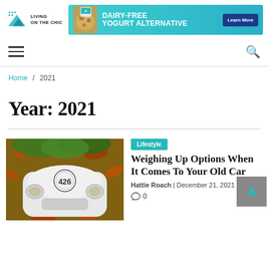[Figure (logo): Living on the Chic logo — teal mountain/diamond icon with text 'LIVING ON THE CHIC']
[Figure (infographic): Ad banner for dairy-free yogurt alternative with teal background, food imagery, and 'Learn More' button]
≡  🔍
Home / 2021
Year: 2021
[Figure (photo): Close-up photo of a vintage white car hood with number 426, surrounded by autumn leaves]
Lifestyle
Weighing Up Options When It Comes To Your Old Car
Hattie Roach | December 21, 2021 |
0